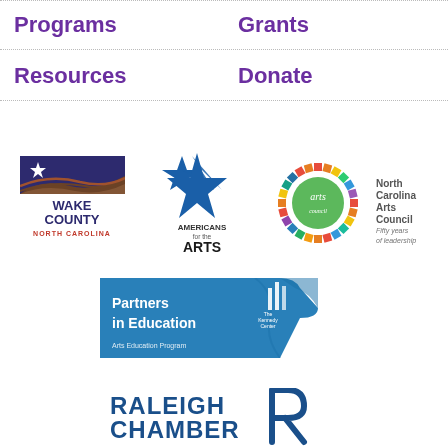Programs
Grants
Resources
Donate
[Figure (logo): Wake County North Carolina logo with star and wave design]
[Figure (logo): Americans for the Arts logo with blue star]
[Figure (logo): North Carolina Arts Council logo - colorful circle with arts text, Fifty years of leadership]
[Figure (logo): Partners in Education - The Kennedy Center, Arts Education Program. Blue banner logo.]
[Figure (logo): Raleigh Chamber logo with stylized R]